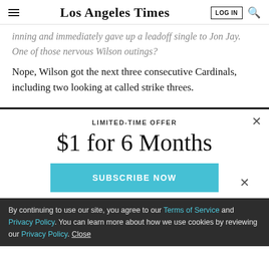Los Angeles Times
inning and immediately gave up a leadoff single to Jon Jay. One of those nervous Wilson outings?
Nope, Wilson got the next three consecutive Cardinals, including two looking at called strike threes.
LIMITED-TIME OFFER
$1 for 6 Months
SUBSCRIBE NOW
By continuing to use our site, you agree to our Terms of Service and Privacy Policy. You can learn more about how we use cookies by reviewing our Privacy Policy. Close